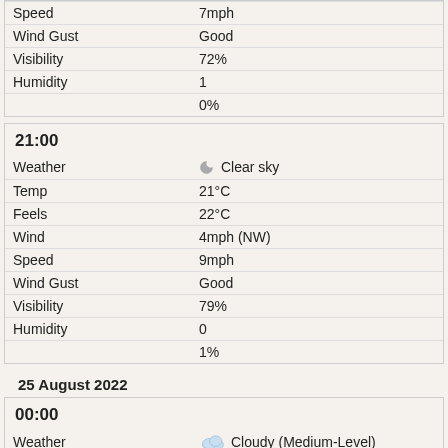| Field | Value |
| --- | --- |
| Speed | 7mph |
| Wind Gust | Good |
| Visibility | 72% |
| Humidity | 1 |
|  | 0% |
21:00
| Field | Value |
| --- | --- |
| Weather | Clear sky |
| Temp | 21°C |
| Feels | 22°C |
| Wind | 4mph (NW) |
| Speed | 9mph |
| Wind Gust | Good |
| Visibility | 79% |
| Humidity | 0 |
|  | 1% |
25 August 2022
00:00
| Field | Value |
| --- | --- |
| Weather | Cloudy (Medium-Level) |
| Temp | 20°C |
| Feels | 20°C |
| Wind | 7mph (NNW) |
| Speed | 13mph |
| Wind Gust | Good |
| Visibility | 83% |